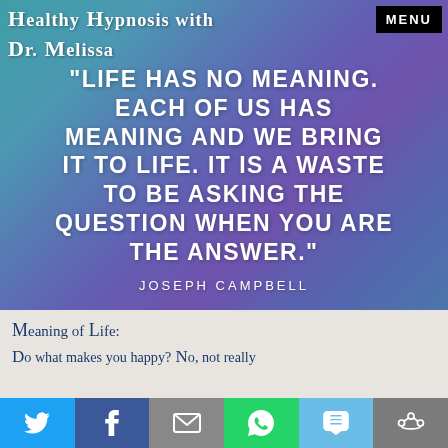Healthy Hypnosis with Dr. Melissa
[Figure (illustration): Colorful watercolor-style background with teal, blue, and purple gradient tones serving as backdrop for a quote.]
"Life has no meaning. Each of us has meaning and we bring it to life. It is a waste to be asking the question when you are the answer."
Joseph Campbell
Meaning of Life:
Do what makes you happy? No, not really
Social share buttons: Twitter, Facebook, Email, WhatsApp, SMS, More